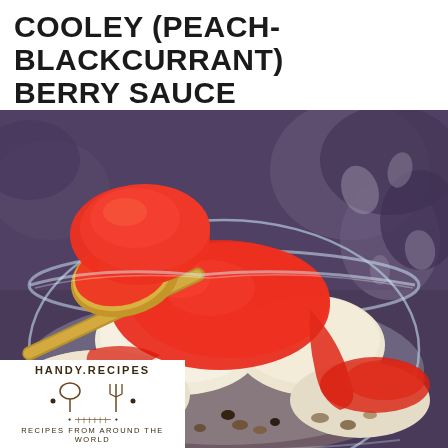COOLEY (PEACH-BLACKCURRANT) BERRY SAUCE
[Figure (photo): A glass bowl containing ice cream scoops topped with bright red peach-blackcurrant berry sauce (coulis), with a spoon lifting a portion of the sauce and ice cream. Decorative black and white floral fabric visible in the background.]
HANDY.RECIPES · RECIPES FROM AROUND THE WORLD